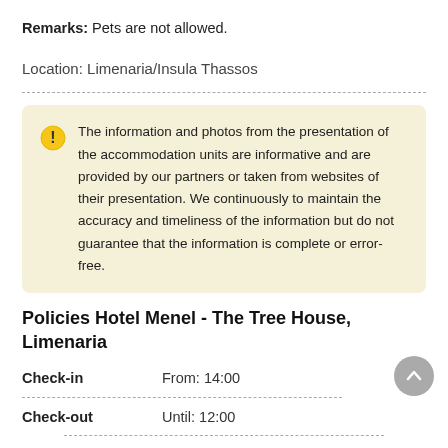Remarks: Pets are not allowed.
Location: Limenaria/Insula Thassos
The information and photos from the presentation of the accommodation units are informative and are provided by our partners or taken from websites of their presentation. We continuously to maintain the accuracy and timeliness of the information but do not guarantee that the information is complete or error-free.
Policies Hotel Menel - The Tree House, Limenaria
Check-in   From: 14:00
Check-out   Until: 12:00